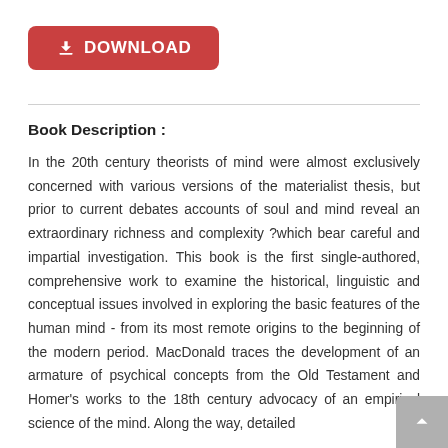[Figure (other): Red download button with download icon and text 'DOWNLOAD']
Book Description :
In the 20th century theorists of mind were almost exclusively concerned with various versions of the materialist thesis, but prior to current debates accounts of soul and mind reveal an extraordinary richness and complexity ?which bear careful and impartial investigation. This book is the first single-authored, comprehensive work to examine the historical, linguistic and conceptual issues involved in exploring the basic features of the human mind - from its most remote origins to the beginning of the modern period. MacDonald traces the development of an armature of psychical concepts from the Old Testament and Homer's works to the 18th century advocacy of an empirical science of the mind. Along the way, detailed